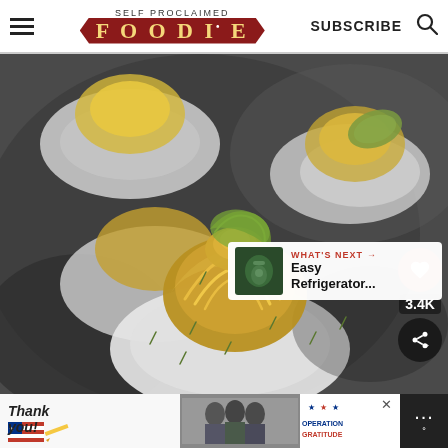SELF PROCLAIMED FOODIE — SUBSCRIBE
[Figure (photo): Close-up photo of deviled eggs with yellow swirled filling and a pickle slice on top, garnished with herbs, arranged on a white plate with dark marble background. Social share overlay with heart icon showing 3.4K likes and share button. 'WHAT'S NEXT → Easy Refrigerator...' overlay in bottom right.]
[Figure (photo): Advertisement banner: 'Thank you!' with American flag design and Operation Gratitude logo with military personnel image.]